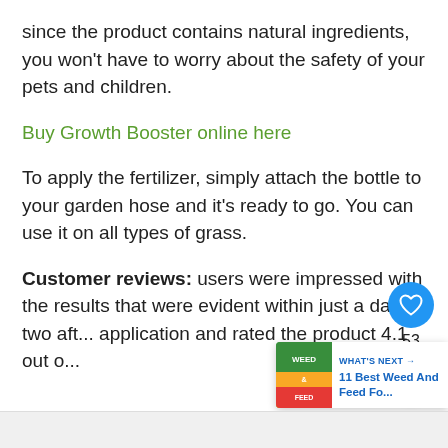since the product contains natural ingredients, you won't have to worry about the safety of your pets and children.
Buy Growth Booster online here
To apply the fertilizer, simply attach the bottle to your garden hose and it's ready to go. You can use it on all types of grass.
Customer reviews: users were impressed with the results that were evident within just a day or two aft... application and rated the product 4.1 out o...